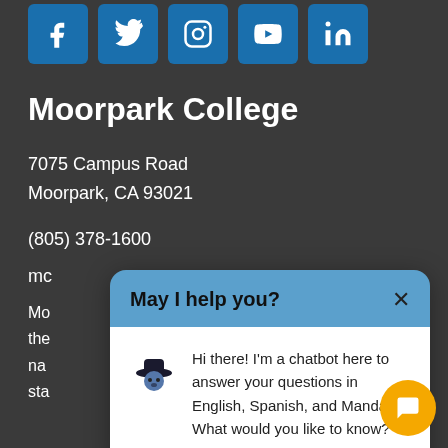[Figure (other): Row of social media icons: Facebook, Twitter, Instagram, YouTube, LinkedIn on blue rounded square backgrounds]
Moorpark College
7075 Campus Road
Moorpark, CA 93021
(805) 378-1600
mc...
Mo... nate on the... der, na... marital sta...
[Figure (screenshot): Chatbot popup dialog box with blue header reading 'May I help you?' with X close button, and white body with cowboy hat mascot avatar and text: Hi there! I'm a chatbot here to answer your questions in English, Spanish, and Mandarin. What would you like to know?]
[Figure (other): Yellow circular chat button with message icon in bottom right corner]